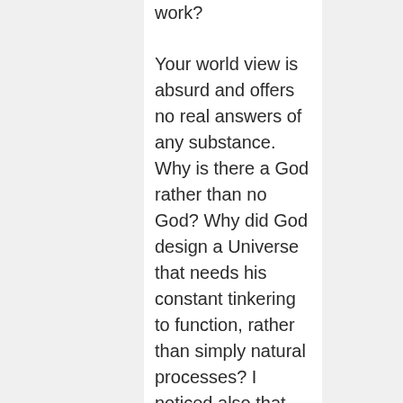work?

Your world view is absurd and offers no real answers of any substance. Why is there a God rather than no God? Why did God design a Universe that needs his constant tinkering to function, rather than simply natural processes? I noticed also that you failed to mention the quote I 'misread' earlier, and acknowledge that it says precisely what I